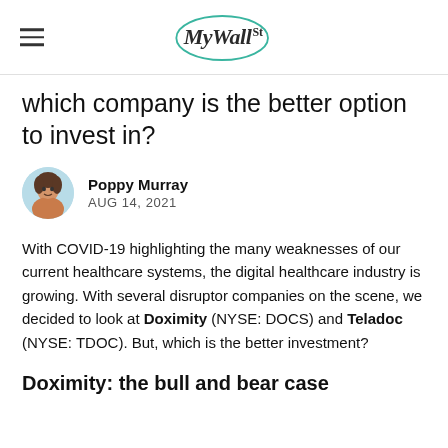MyWallSt
which company is the better option to invest in?
Poppy Murray
AUG 14, 2021
With COVID-19 highlighting the many weaknesses of our current healthcare systems, the digital healthcare industry is growing. With several disruptor companies on the scene, we decided to look at Doximity (NYSE: DOCS) and Teladoc (NYSE: TDOC). But, which is the better investment?
Doximity: the bull and bear case